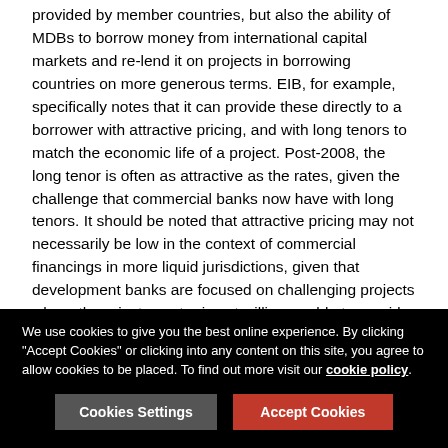provided by member countries, but also the ability of MDBs to borrow money from international capital markets and re-lend it on projects in borrowing countries on more generous terms. EIB, for example, specifically notes that it can provide these directly to a borrower with attractive pricing, and with long tenors to match the economic life of a project. Post-2008, the long tenor is often as attractive as the rates, given the challenge that commercial banks now have with long tenors. It should be noted that attractive pricing may not necessarily be low in the context of commercial financings in more liquid jurisdictions, given that development banks are focused on challenging projects where the private sector is not willing or able to provide financing.
MDBs are increasingly looking to leverage their financings in direct loans, and so would typically look for their direct loan to unlock substantial private sector financing capacity for a
We use cookies to give you the best online experience. By clicking "Accept Cookies" or clicking into any content on this site, you agree to allow cookies to be placed. To find out more visit our cookie policy.